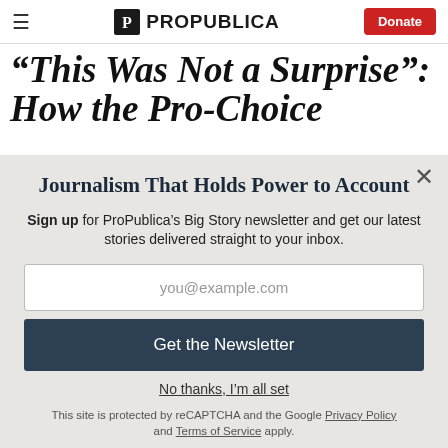ProPublica — Donate
“This Was Not a Surprise”: How the Pro-Choice
Journalism That Holds Power to Account
Sign up for ProPublica’s Big Story newsletter and get our latest stories delivered straight to your inbox.
you@example.com
Get the Newsletter
No thanks, I’m all set
This site is protected by reCAPTCHA and the Google Privacy Policy and Terms of Service apply.